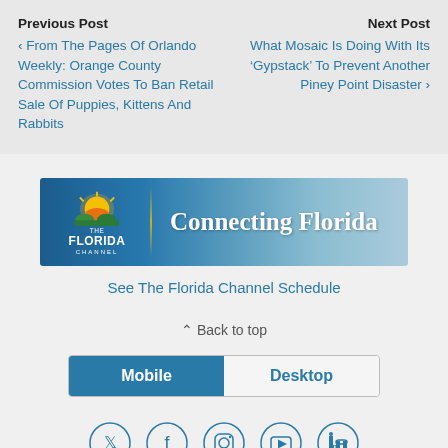Previous Post
‹ From The Pages Of Orlando Weekly: Orange County Commission Votes To Ban Retail Sale Of Puppies, Kittens And Rabbits
Next Post
What Mosaic Is Doing With Its 'Gypstack' To Prevent Another Piney Point Disaster ›
[Figure (illustration): The Florida Channel banner ad with logo and 'Connecting Florida' tagline]
See The Florida Channel Schedule
⇪ Back to top
Mobile | Desktop
[Figure (infographic): Social media icons: Twitter, Facebook, Instagram, YouTube, LinkedIn]